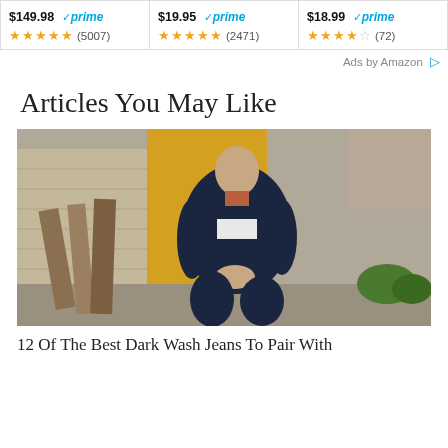[Figure (screenshot): Amazon ads strip showing three products with prices, Prime badges, and star ratings: $149.98 Prime (4.5 stars, 5007 reviews), $19.95 Prime (5 stars, 2471 reviews), $18.99 Prime (3.5 stars, 72 reviews)]
Ads by Amazon
Articles You May Like
[Figure (photo): Man wearing a dark navy denim jacket crouching outdoors near a yellow wall and wooden boards]
12 Of The Best Dark Wash Jeans To Pair With